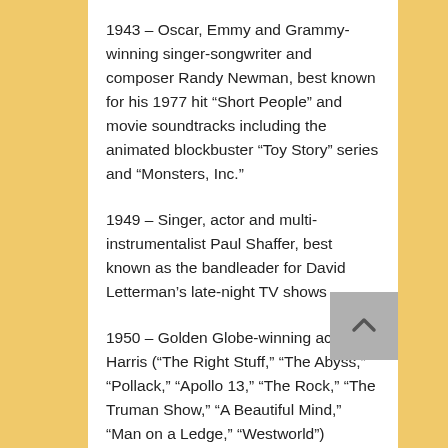1943 – Oscar, Emmy and Grammy-winning singer-songwriter and composer Randy Newman, best known for his 1977 hit “Short People” and movie soundtracks including the animated blockbuster “Toy Story” series and “Monsters, Inc.”
1949 – Singer, actor and multi-instrumentalist Paul Shaffer, best known as the bandleader for David Letterman’s late-night TV shows
1950 – Golden Globe-winning actor Ed Harris (“The Right Stuff,” “The Abyss,” “Pollack,” “Apollo 13,” “The Rock,” “The Truman Show,” “A Beautiful Mind,” “Man on a Ledge,” “Westworld”)
1959 – Actor-producer Judd Nelson (“The Breakfast Club,” “St. Elmo’s Fire,” “New…